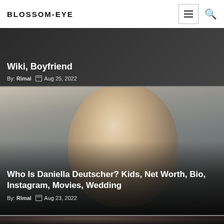BLOSSOM-EYE
Wiki, Boyfriend
By: Rimal  Aug 25, 2022
[Figure (photo): Portrait photo of Daniella Deutscher, blonde woman looking up, blurred background]
Who Is Daniella Deutscher? Kids, Net Worth, Bio, Instagram, Movies, Wedding
By: Rimal  Aug 23, 2022
[Figure (photo): Partial view of another article photo at the bottom, dark tones]